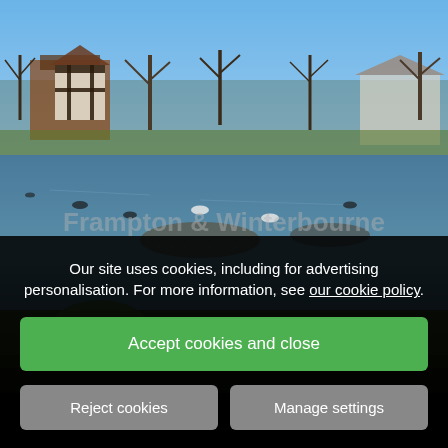[Figure (photo): Outdoor photograph of a pond or river scene in winter. Bare trees line the far bank, with houses (including a black-and-white timber-framed building) visible in the background. Waterfowl including ducks and swans are on the water. Green grass is visible in the foreground. Clear blue sky above.]
Our site uses cookies, including for advertising personalisation. For more information, see our cookie policy.
Accept cookies and close
Reject cookies
Manage settings